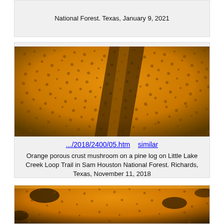National Forest. Texas, January 9, 2021
[Figure (photo): Close-up photo of orange porous crust mushroom on a pine log, showing honeycomb-like texture, with dark wood visible beneath.]
.../2018/2400/05.htm   similar
Orange porous crust mushroom on a pine log on Little Lake Creek Loop Trail in Sam Houston National Forest. Richards, Texas, November 11, 2018
[Figure (photo): Close-up photo of orange porous crust mushroom on wood, showing detailed pore texture with black patches.]